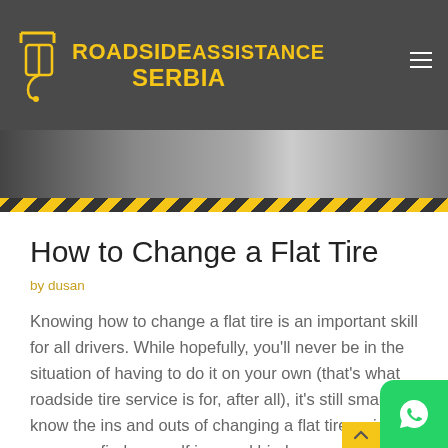ROADSIDE ASSISTANCE SERBIA
[Figure (photo): Hero image showing a road scene with a vehicle, partially visible]
How to Change a Flat Tire
by dusan
Knowing how to change a flat tire is an important skill for all drivers. While hopefully, you'll never be in the situation of having to do it on your own (that's what roadside tire service is for, after all), it's still smart to know the ins and outs of changing a flat tire — just in case you find yourself in a real bind.